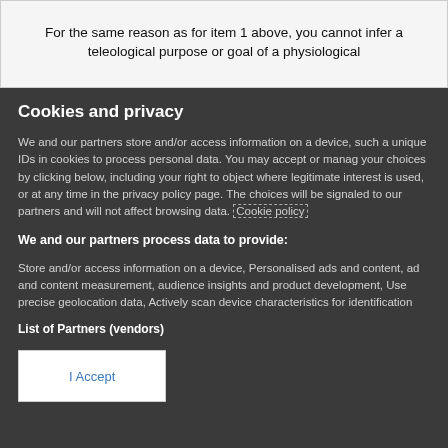For the same reason as for item 1 above, you cannot infer a teleological purpose or goal of a physiological
Cookies and privacy
We and our partners store and/or access information on a device, such as unique IDs in cookies to process personal data. You may accept or manage your choices by clicking below, including your right to object where legitimate interest is used, or at any time in the privacy policy page. These choices will be signaled to our partners and will not affect browsing data. Cookie policy
We and our partners process data to provide:
Store and/or access information on a device, Personalised ads and content, ad and content measurement, audience insights and product development, Use precise geolocation data, Actively scan device characteristics for identification
List of Partners (vendors)
I Accept